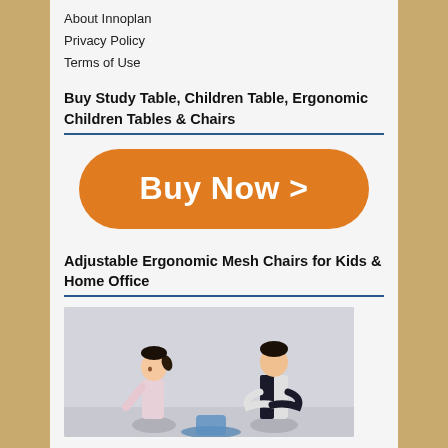About Innoplan
Privacy Policy
Terms of Use
Buy Study Table, Children Table, Ergonomic Children Tables & Chairs
[Figure (other): Orange rounded-rectangle button with white text 'Buy Now >']
Adjustable Ergonomic Mesh Chairs for Kids & Home Office
[Figure (photo): Two people (a woman with ponytail on left, a man with arms crossed on right) standing in front of a light background with blue office chair partially visible at bottom center]